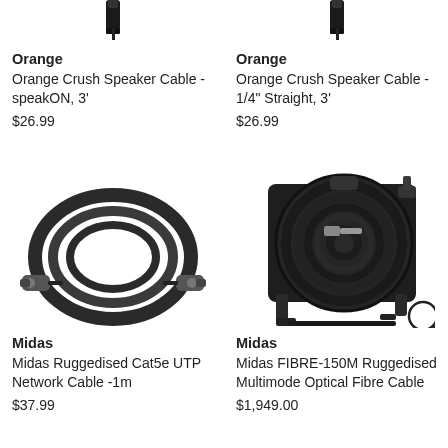[Figure (photo): Orange Crush Speaker Cable - speakON connector top visible, cropped]
Orange
Orange Crush Speaker Cable - speakON, 3'
$26.99
[Figure (photo): Orange Crush Speaker Cable - 1/4 inch Straight connector top visible, cropped]
Orange
Orange Crush Speaker Cable - 1/4" Straight, 3'
$26.99
[Figure (photo): Midas Ruggedised Cat5e UTP Network Cable 1m - black cable coiled with metal connectors on each end]
Midas
Midas Ruggedised Cat5e UTP Network Cable -1m
$37.99
[Figure (photo): Midas FIBRE-150M Ruggedised Multimode Optical Fibre Cable on a large black cable reel/drum]
Midas
Midas FIBRE-150M Ruggedised Multimode Optical Fibre Cable
$1,949.00